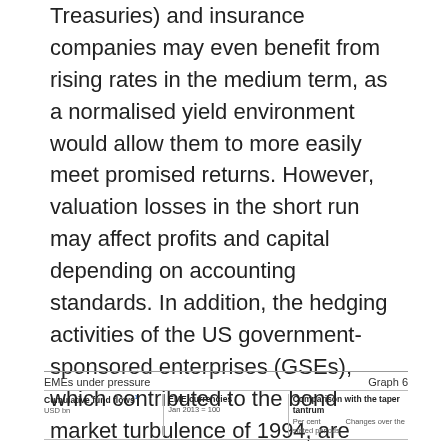Treasuries) and insurance companies may even benefit from rising rates in the medium term, as a normalised yield environment would allow them to more easily meet promised returns. However, valuation losses in the short run may affect profits and capital depending on accounting standards. In addition, the hedging activities of the US government-sponsored enterprises (GSEs), which contributed to the bond market turbulence of 1994, are much lower now. This is because, as part of quantitative easing policies, GSEs sold a large share of their portfolios to the Federal Reserve, which does not hedge its securities.¹
EMEs under pressure    Graph 6
| Cumulative fund flows¹ | EME currencies | Comparison with the taper tantrum |
| --- | --- | --- |
| USD bn | Jan 2013 = 100 | Per cent | Changes over the stated periods |